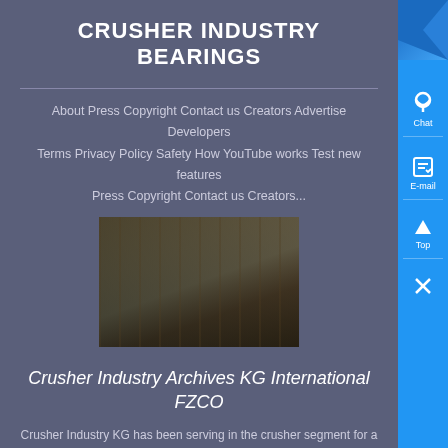CRUSHER INDUSTRY BEARINGS
About Press Copyright Contact us Creators Advertise Developers Terms Privacy Policy Safety How YouTube works Test new features Press Copyright Contact us Creators...
[Figure (photo): Industrial facility interior showing heavy machinery and equipment on a factory floor]
Crusher Industry Archives KG International FZCO
Crusher Industry KG has been serving in the crusher segment for a long time and has attained a high customer satisfaction by providing bearings that are reliable durable and give consistent performance Equipments such as jaw crushers cone crushers gyratory cone crushers horizontal and vertical shaft impact crushers and roll